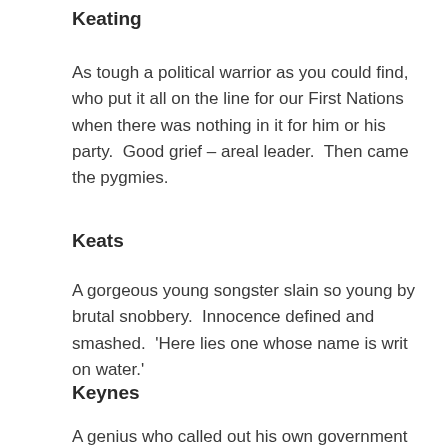Keating
As tough a political warrior as you could find, who put it all on the line for our First Nations when there was nothing in it for him or his party.  Good grief – areal leader.  Then came the pygmies.
Keats
A gorgeous young songster slain so young by brutal snobbery.  Innocence defined and smashed.  'Here lies one whose name is writ on water.'
Keynes
A genius who called out his own government as part of the cause of the next war and then helped that nation